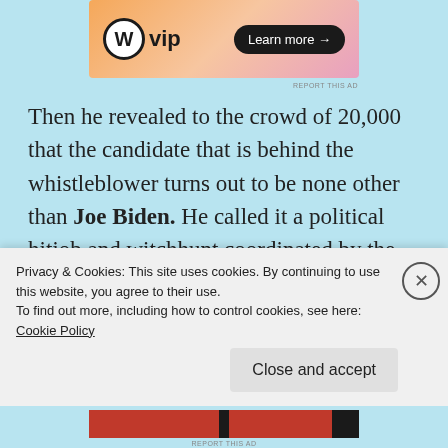[Figure (other): WordPress VIP advertisement banner with orange/pink gradient background showing WordPress circle logo, 'vip' text, and 'Learn more →' button]
Then he revealed to the crowd of 20,000 that the candidate that is behind the whistleblower turns out to be none other than Joe Biden.  He called it a political hitjob and witchhunt coordinated by the Democrats.  The crowd groaned.  It's no wonder that Trump went ballistic on Biden.  He barely mentioned Pinocchio Pocahontas this time.
Privacy & Cookies: This site uses cookies. By continuing to use this website, you agree to their use.
To find out more, including how to control cookies, see here: Cookie Policy